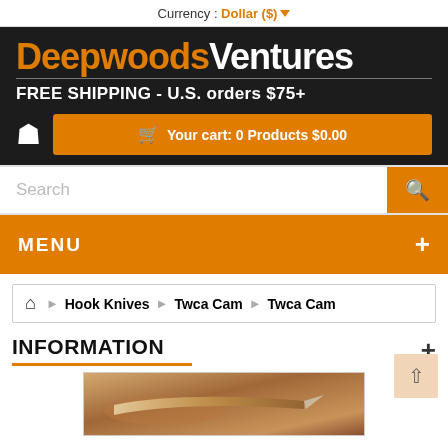Currency : Dollar ($)
[Figure (logo): Deepwoods Ventures logo with orange 'Deepwoods' and white 'Ventures' text on dark background]
FREE SHIPPING - U.S. orders $75+
Your cart: 0 Products $0.00
Search
MENU
Home > Hook Knives > Twca Cam > Twca Cam
INFORMATION
[Figure (photo): Product photo showing a hook knife / Twca Cam, close-up of blade and handle in warm brown tones]